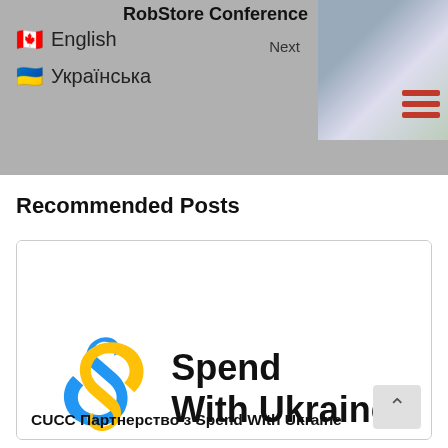RobStore Conference
Next
🇨🇦 English
🇺🇦 Українська
[Figure (photo): Photo of people at RobStore Conference]
Recommended Posts
[Figure (logo): Spend With Ukraine logo — blue and yellow S-shaped icon with bold text 'Spend With Ukraine']
CUCC Партнерство з Spend With Ukraine